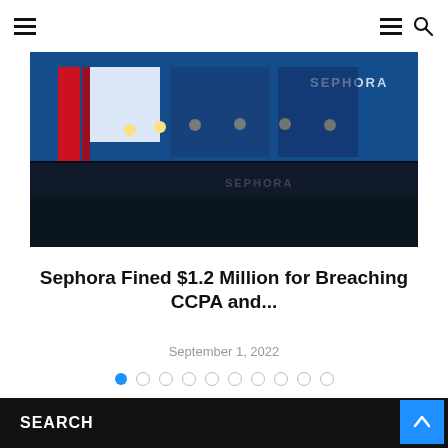≡ ≡ 🔍
[Figure (photo): Exterior photo of a Sephora store front with dark blue facade, red stripe accent, white panel, ceiling lights, and SEPHORA signage visible.]
Sephora Fined $1.2 Million for Breaching CCPA and…
September 1, 2022
[Figure (other): Pagination dots: first dot filled blue, remaining 9 dots outlined gray.]
SEARCH